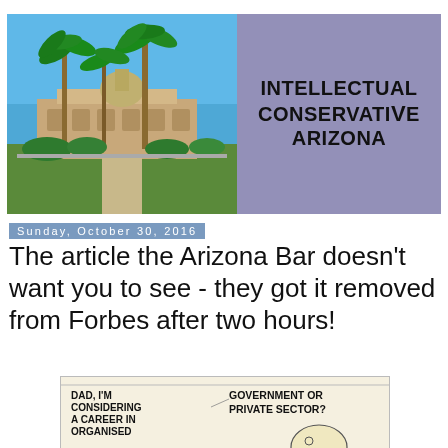[Figure (photo): Header banner with photo of Arizona state capitol building with palm trees on the left, and a purple/mauve background with 'INTELLECTUAL CONSERVATIVE ARIZONA' text logo on the right]
Sunday, October 30, 2016
The article the Arizona Bar doesn't want you to see - they got it removed from Forbes after two hours!
[Figure (illustration): Cartoon panel showing text: 'DAD, I'M CONSIDERING A CAREER IN ORGANISED' on the left and 'GOVERNMENT OR PRIVATE SECTOR?' on the right, with a partial cartoon face/figure at the bottom]